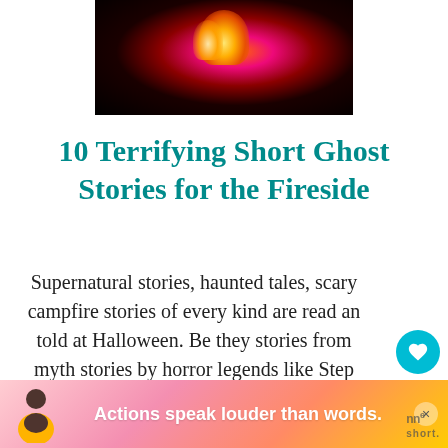[Figure (photo): Dark campfire scene with orange and yellow flames glowing against a black background]
10 Terrifying Short Ghost Stories for the Fireside
Supernatural stories, haunted tales, scary campfire stories of every kind are read and told at Halloween. Be they stories from myth stories by horror legends like Step... and Edgar Allan Poe, or stories you found
[Figure (screenshot): What's Next widget showing: Review: Theatre of W...]
[Figure (screenshot): Advertisement banner: Actions speak louder than words.]